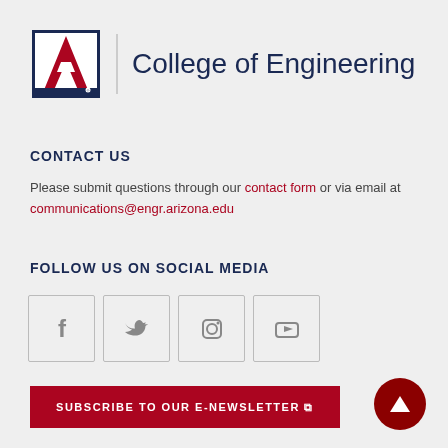[Figure (logo): University of Arizona College of Engineering logo with block A and text]
CONTACT US
Please submit questions through our contact form or via email at communications@engr.arizona.edu
FOLLOW US ON SOCIAL MEDIA
[Figure (infographic): Four social media icon boxes: Facebook, Twitter, Instagram, YouTube]
[Figure (other): Subscribe to our E-Newsletter red button with external link icon]
[Figure (other): Dark red circular back-to-top button with upward triangle]